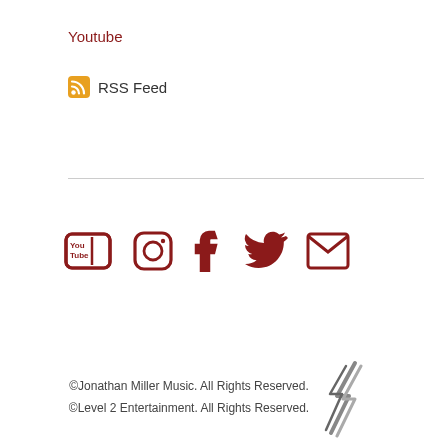Youtube
RSS Feed
[Figure (infographic): Social media icons row: YouTube, Instagram, Facebook, Twitter, Email — all in dark red/maroon color]
©Jonathan Miller Music. All Rights Reserved.
©Level 2 Entertainment. All Rights Reserved.